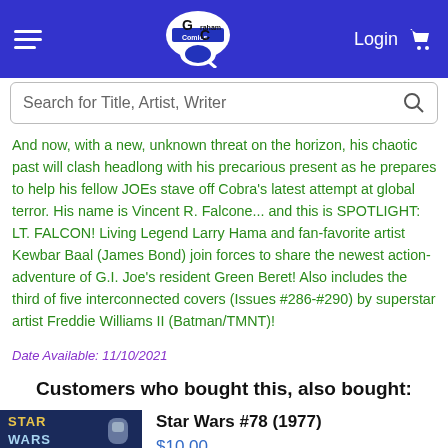Graham Crackers Comics | Login | Cart
And now, with a new, unknown threat on the horizon, his chaotic past will clash headlong with his precarious present as he prepares to help his fellow JOEs stave off Cobra's latest attempt at global terror. His name is Vincent R. Falcone... and this is SPOTLIGHT: LT. FALCON! Living Legend Larry Hama and fan-favorite artist Kewbar Baal (James Bond) join forces to share the newest action-adventure of G.I. Joe's resident Green Beret! Also includes the third of five interconnected covers (Issues #286-#290) by superstar artist Freddie Williams II (Batman/TMNT)!
Date Available: 11/10/2021
Customers who bought this, also bought:
[Figure (photo): Star Wars #78 (1977) comic book cover — Marvel, showing Star Wars logo in large letters with characters]
Star Wars #78 (1977)
$10.00